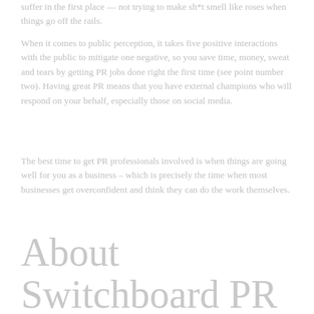suffer in the first place — not trying to make sh*t smell like roses when things go off the rails.
When it comes to public perception, it takes five positive interactions with the public to mitigate one negative, so you save time, money, sweat and tears by getting PR jobs done right the first time (see point number two). Having great PR means that you have external champions who will respond on your behalf, especially those on social media.
The best time to get PR professionals involved is when things are going well for you as a business – which is precisely the time when most businesses get overconfident and think they can do the work themselves.
About Switchboard PR